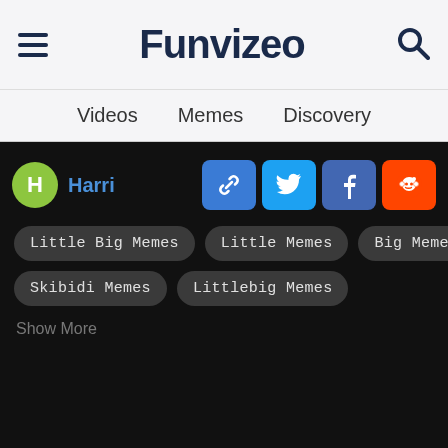Funvizeo
Videos  Memes  Discovery
Harri
Little Big Memes
Little Memes
Big Memes
Skibidi Memes
Littlebig Memes
Show More